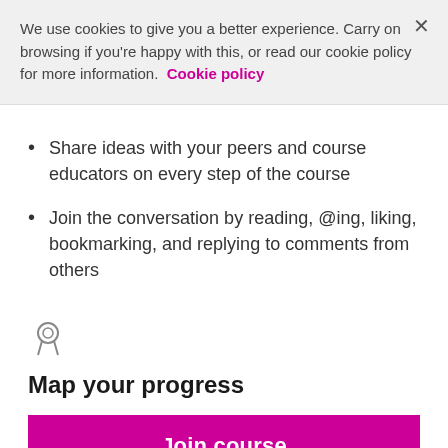We use cookies to give you a better experience. Carry on browsing if you're happy with this, or read our cookie policy for more information. Cookie policy
Share ideas with your peers and course educators on every step of the course
Join the conversation by reading, @ing, liking, bookmarking, and replying to comments from others
[Figure (illustration): Badge/certificate icon]
Map your progress
Join course
258,099 enrolled on this course